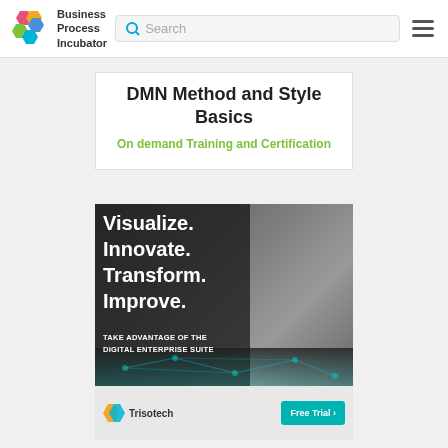Business Process Incubator | Search | Menu
DMN Method and Style Basics
On demand Training and Certification
[Figure (illustration): Trisotech Digital Enterprise Suite advertisement with taglines: Visualize. Innovate. Transform. Improve. TAKE ADVANTAGE OF THE DIGITAL ENTERPRISE SUITE. Free Trial button and Trisotech logo at bottom.]